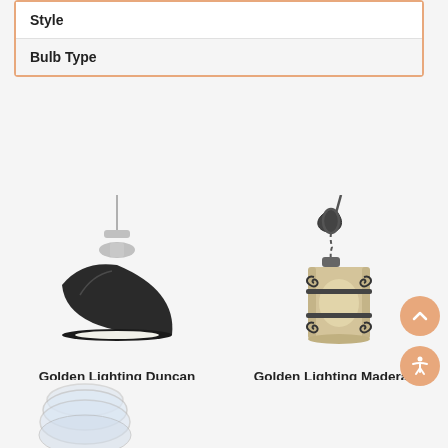| Style | Bulb Type |
| --- | --- |
[Figure (photo): Golden Lighting Duncan Pewter Pendant Light with Matte Black Shade - product photo showing a dome-shaped black pendant light with pewter hardware]
Golden Lighting Duncan Pewter Pendant Light with Matte Black Shade
$149.00
[Figure (photo): Golden Lighting Madera Black Iron Mini-Pendant Light with Cylindrical Shade - product photo showing a cylindrical beige shade with ornate black iron scrollwork]
Golden Lighting Madera Black Iron Mini-Pendant Light with Cylindrical Shade
$189.00
[Figure (photo): Partial view of a third pendant light product at the bottom of the page]